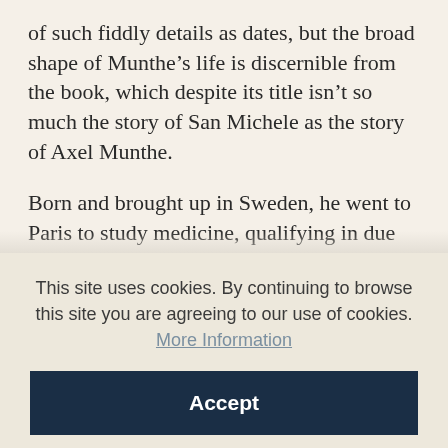of such fiddly details as dates, but the broad shape of Munthe's life is discernible from the book, which despite its title isn't so much the story of San Michele as the story of Axel Munthe.
Born and brought up in Sweden, he went to Paris to study medicine, qualifying in due course as 'the youngest MD ever created in France'. Monsieur le Suédois was soon a popular society doctor, diagnosing wealthy hypochondriacs with 'colitis' and prescribing lapdogs for bored dowager
This site uses cookies. By continuing to browse this site you are agreeing to our use of cookies. More Information
Accept